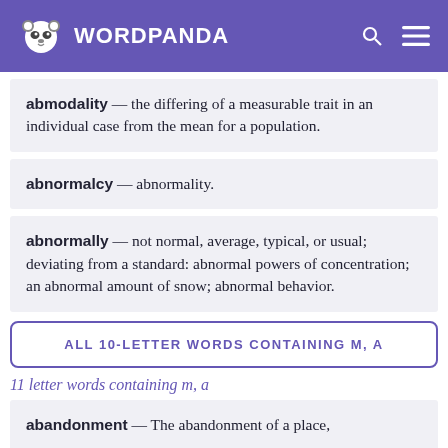WORDPANDA
abmodality — the differing of a measurable trait in an individual case from the mean for a population.
abnormalcy — abnormality.
abnormally — not normal, average, typical, or usual; deviating from a standard: abnormal powers of concentration; an abnormal amount of snow; abnormal behavior.
ALL 10-LETTER WORDS CONTAINING M, A
11 letter words containing m, a
abandonment — The abandonment of a place,